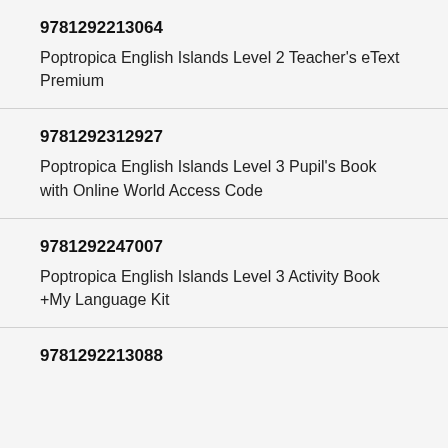9781292213064
Poptropica English Islands Level 2 Teacher's eText Premium
9781292312927
Poptropica English Islands Level 3 Pupil's Book with Online World Access Code
9781292247007
Poptropica English Islands Level 3 Activity Book +My Language Kit
9781292213088